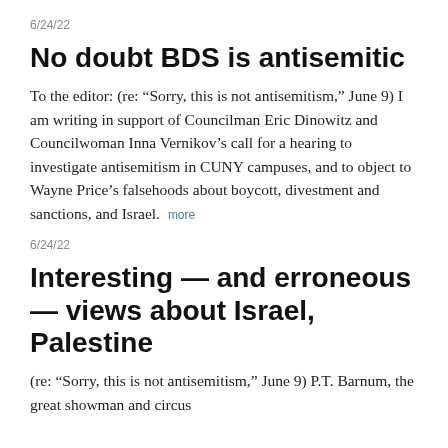6/24/22
No doubt BDS is antisemitic
To the editor: (re: “Sorry, this is not antisemitism,” June 9) I am writing in support of Councilman Eric Dinowitz and Councilwoman Inna Vernikov’s call for a hearing to investigate antisemitism in CUNY campuses, and to object to Wayne Price’s falsehoods about boycott, divestment and sanctions, and Israel. more
6/24/22
Interesting — and erroneous — views about Israel, Palestine
(re: “Sorry, this is not antisemitism,” June 9) P.T. Barnum, the great showman and circus